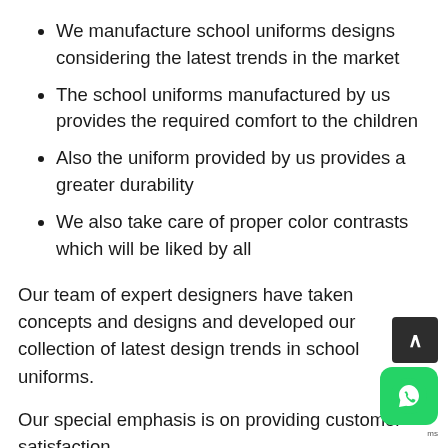We manufacture school uniforms designs considering the latest trends in the market
The school uniforms manufactured by us provides the required comfort to the children
Also the uniform provided by us provides a greater durability
We also take care of proper color contrasts which will be liked by all
Our team of expert designers have taken concepts and designs and developed our collection of latest design trends in school uniforms.
Our special emphasis is on providing customer satisfaction.
Also our specialist team can also transform your